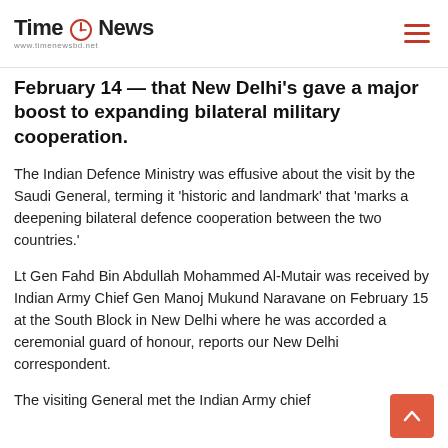Time News — www.timenewsbd.net
February 14 — that New Delhi's gave a major boost to expanding bilateral military cooperation.
The Indian Defence Ministry was effusive about the visit by the Saudi General, terming it 'historic and landmark' that 'marks a deepening bilateral defence cooperation between the two countries.'
Lt Gen Fahd Bin Abdullah Mohammed Al-Mutair was received by Indian Army Chief Gen Manoj Mukund Naravane on February 15 at the South Block in New Delhi where he was accorded a ceremonial guard of honour, reports our New Delhi correspondent.
The visiting General met the Indian Army chief…